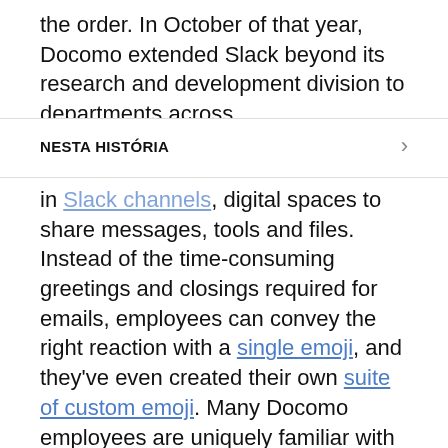the order. In October of that year, Docomo extended Slack beyond its research and development division to departments across ...
NESTA HISTÓRIA
in Slack channels, digital spaces to share messages, tools and files. Instead of the time-consuming greetings and closings required for emails, employees can convey the right reaction with a single emoji, and they've even created their own suite of custom emoji. Many Docomo employees are uniquely familiar with emoji: In 1999, the company tapped into a long tradition of expressive visual language to release the world's first 176 emoji for mobile phones—now a staple in mobile messaging.